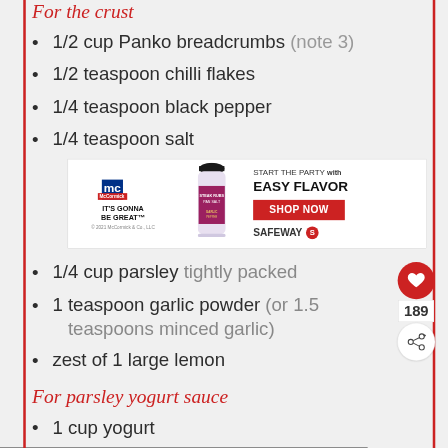For the crust
1/2 cup Panko breadcrumbs (note 3)
1/2 teaspoon chilli flakes
1/4 teaspoon black pepper
1/4 teaspoon salt
[Figure (infographic): McCormick and Safeway advertisement banner. Left side shows McCormick logo with text IT'S GONNA BE GREAT. Center shows a spice bottle. Right side shows text START THE PARTY with EASY FLAVOR and a red SHOP NOW button, with SAFEWAY logo.]
1/4 cup parsley tightly packed
1 teaspoon garlic powder (or 1.5 teaspoons minced garlic)
zest of 1 large lemon
For parsley yogurt sauce
1 cup yogurt
[Figure (infographic): She Can STEM advertisement banner with Learn More button, STEM logo, and ad council logo on dark background.]